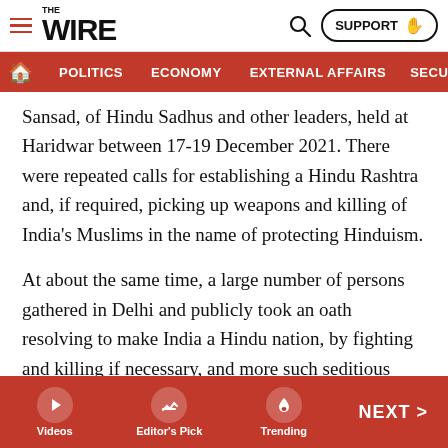THE WIRE — SUPPORT
POLITICS | ECONOMY | EXTERNAL AFFAIRS | SECU...
Sansad, of Hindu Sadhus and other leaders, held at Haridwar between 17-19 December 2021. There were repeated calls for establishing a Hindu Rashtra and, if required, picking up weapons and killing of India's Muslims in the name of protecting Hinduism.
At about the same time, a large number of persons gathered in Delhi and publicly took an oath resolving to make India a Hindu nation, by fighting and killing if necessary, and more such seditious meetings are being organised in other places.
Regardless of which persons or parties initiated calls for such genocide, Government of India and the Judiciary, at
Videos | Editor's Pick | Trending | NEXT >